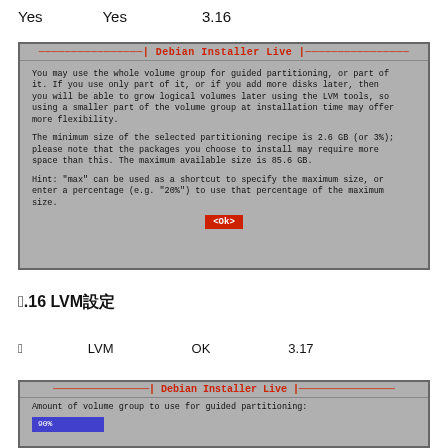Yes　　　　Yes　　　　　3.16
[Figure (screenshot): Debian Installer Live dialog box showing volume group partitioning info with OK button. Text describes using whole or part of volume group for guided partitioning. Minimum size 2.6 GB (3%), maximum 85.6 GB. Hint about 'max' shortcut and percentage input.]
図3.16 LVM設定
図5　　　　LVM　　　　　OK　　　　　3.17
[Figure (screenshot): Debian Installer Live dialog showing 'Amount of volume group to use for guided partitioning:' with a blue progress bar showing 90%]